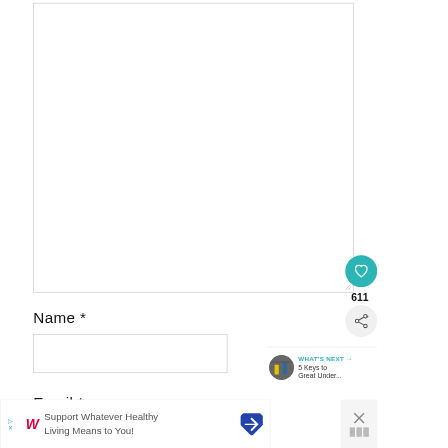[Figure (screenshot): Empty textarea input box with resize handle at bottom right]
Name *
[Figure (screenshot): Empty text input field for Name]
Email *
[Figure (screenshot): Empty text input field for Email]
[Figure (infographic): Teal heart icon button with count 611 and share button below]
[Figure (infographic): What's Next section with thumbnail image and text '5 Keys to Great Under...']
[Figure (infographic): Walgreens advertisement banner: Support Whatever Healthy Living Means to You!]